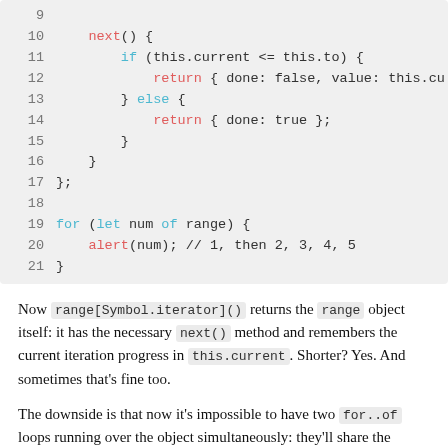[Figure (screenshot): Code block showing JavaScript iterator lines 9-21 with syntax highlighting]
Now range[Symbol.iterator]() returns the range object itself: it has the necessary next() method and remembers the current iteration progress in this.current. Shorter? Yes. And sometimes that's fine too.
The downside is that now it's impossible to have two for..of loops running over the object simultaneously: they'll share the iteration state, because there's only one iterator – the object itself.